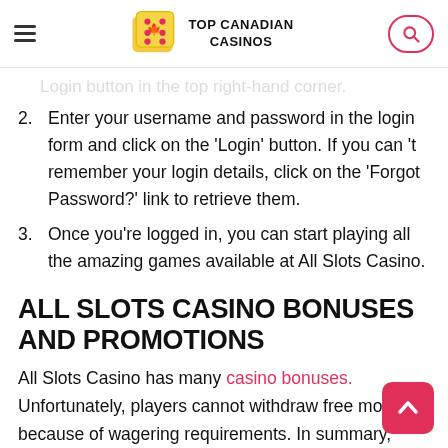TOP CANADIAN CASINOS
Login button in the top right-hand corner.
Enter your username and password in the login form and click on the 'Login' button. If you can 't remember your login details, click on the 'Forgot Password?' link to retrieve them.
Once you're logged in, you can start playing all the amazing games available at All Slots Casino.
ALL SLOTS CASINO BONUSES AND PROMOTIONS
All Slots Casino has many casino bonuses. Unfortunately, players cannot withdraw free money because of wagering requirements. In summary, here is what players should expect.
WELCOME PACKAGE